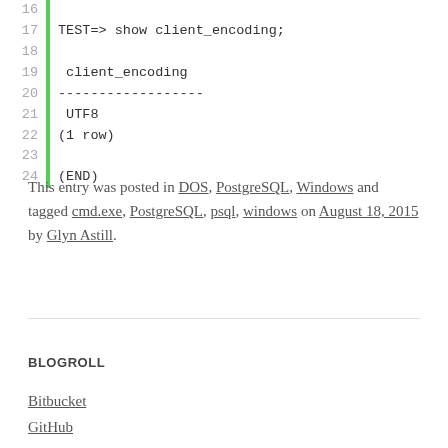[Figure (screenshot): Code block showing lines 16-24 of a terminal/psql session. Line 17: TEST=> show client_encoding; Lines 19-22 show output: client_encoding header, dashes, UTF8, (1 row). Line 24: (END). Green vertical bar on left side.]
This entry was posted in DOS, PostgreSQL, Windows and tagged cmd.exe, PostgreSQL, psql, windows on August 18, 2015 by Glyn Astill.
BLOGROLL
Bitbucket
GitHub
Linkedin